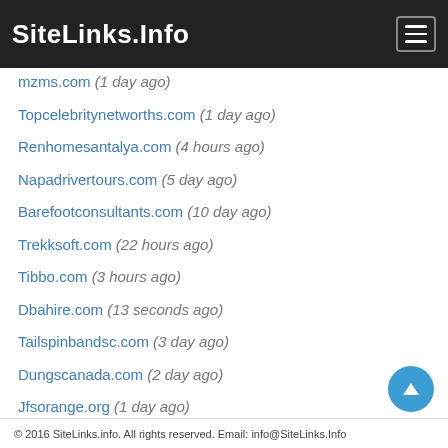SiteLinks.Info
mzms.com (1 day ago)
Topcelebritynetworths.com (1 day ago)
Renhomesantalya.com (4 hours ago)
Napadrivertours.com (5 day ago)
Barefootconsultants.com (10 day ago)
Trekksoft.com (22 hours ago)
Tibbo.com (3 hours ago)
Dbahire.com (13 seconds ago)
Tailspinbandsc.com (3 day ago)
Dungscanada.com (2 day ago)
Jfsorange.org (1 day ago)
Marloweslu.com (2 day ago)
Simurdakconstruction.com (5 day ago)
© 2016 SiteLinks.info. All rights reserved. Email: info@SiteLinks.Info